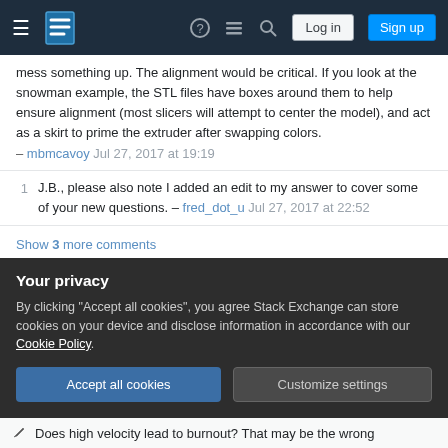Stack Exchange navigation bar with Log in and Sign up buttons
mess something up. The alignment would be critical. If you look at the snowman example, the STL files have boxes around them to help ensure alignment (most slicers will attempt to center the model), and act as a skirt to prime the extruder after swapping colors. – mbmcavoy Jul 27, 2017 at 19:19
1  J.B., please also note I added an edit to my answer to cover some of your new questions. – fred_dot_u Jul 27, 2017 at 22:52
Show 3 more comments
You must log in to answer this question
Your privacy
By clicking "Accept all cookies", you agree Stack Exchange can store cookies on your device and disclose information in accordance with our Cookie Policy.
Accept all cookies   Customize settings
Does high velocity lead to burnout? That may be the wrong